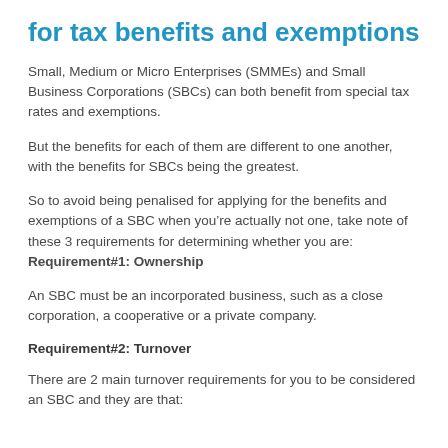for tax benefits and exemptions
Small, Medium or Micro Enterprises (SMMEs) and Small Business Corporations (SBCs) can both benefit from special tax rates and exemptions.
But the benefits for each of them are different to one another, with the benefits for SBCs being the greatest.
So to avoid being penalised for applying for the benefits and exemptions of a SBC when you’re actually not one, take note of these 3 requirements for determining whether you are:
Requirement#1: Ownership
An SBC must be an incorporated business, such as a close corporation, a cooperative or a private company.
Requirement#2: Turnover
There are 2 main turnover requirements for you to be considered an SBC and they are that: